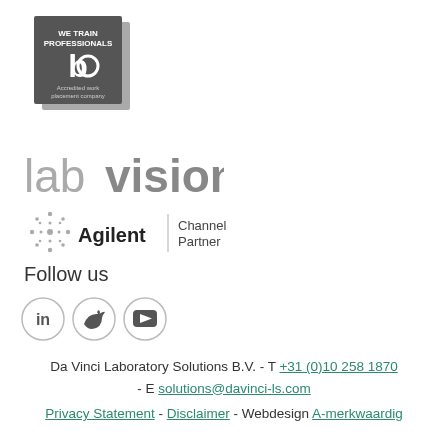[Figure (logo): Dark square badge with 'WE TRAIN PROFESSIONALS' text, stylized 'b' logo, and 'Accredited work placement company' text, with a gray shadow behind]
[Figure (logo): labvision logo in gray — 'lab' in light weight and 'vision' in bold]
[Figure (logo): Agilent Channel Partner logo — starburst dots followed by 'Agilent' in bold, vertical divider, and 'Channel Partner' text]
Follow us
[Figure (infographic): Three social media icons in circles: LinkedIn (in), Twitter (bird), YouTube (play button)]
Da Vinci Laboratory Solutions B.V. - T +31 (0)10 258 1870 - E solutions@davinci-ls.com
Privacy Statement - Disclaimer - Webdesign A-merkwaardig